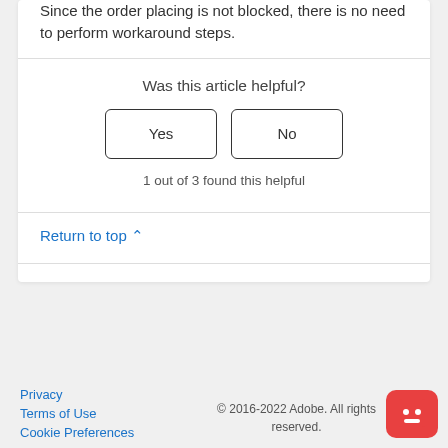Since the order placing is not blocked, there is no need to perform workaround steps.
Was this article helpful?
Yes   No
1 out of 3 found this helpful
Return to top ^
Privacy
Terms of Use
Cookie Preferences
© 2016-2022 Adobe. All rights reserved.